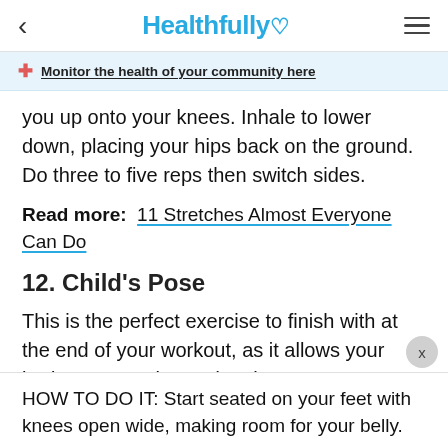< Healthfully♡ ≡
Monitor the health of your community here
you up onto your knees. Inhale to lower down, placing your hips back on the ground. Do three to five reps then switch sides.
Read more: 11 Stretches Almost Everyone Can Do
12. Child's Pose
This is the perfect exercise to finish with at the end of your workout, as it allows your body to rest, relax and recharge.
HOW TO DO IT: Start seated on your feet with knees open wide, making room for your belly.